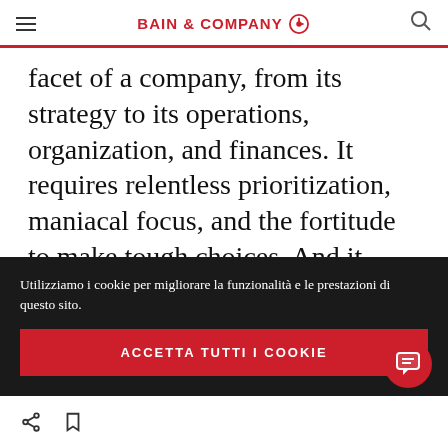BAIN & COMPANY
facet of a company, from its strategy to its operations, organization, and finances. It requires relentless prioritization, maniacal focus, and the fortitude to make tough choices. And it demands that the entire leadership team march in the same direction, with locked arms, their sights set on delivering breakthrough
Utilizziamo i cookie per migliorare la funzionalità e le prestazioni di questo sito.
ACCETTA TUTTI I COOKIE